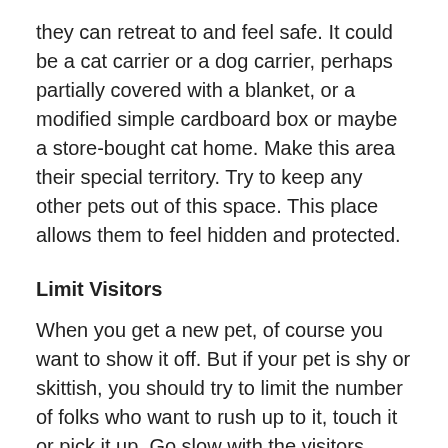they can retreat to and feel safe. It could be a cat carrier or a dog carrier, perhaps partially covered with a blanket, or a modified simple cardboard box or maybe a store-bought cat home. Make this area their special territory. Try to keep any other pets out of this space. This place allows them to feel hidden and protected.
Limit Visitors
When you get a new pet, of course you want to show it off. But if your pet is shy or skittish, you should try to limit the number of folks who want to rush up to it, touch it or pick it up. Go slow with the visitors. There will be time for that later.